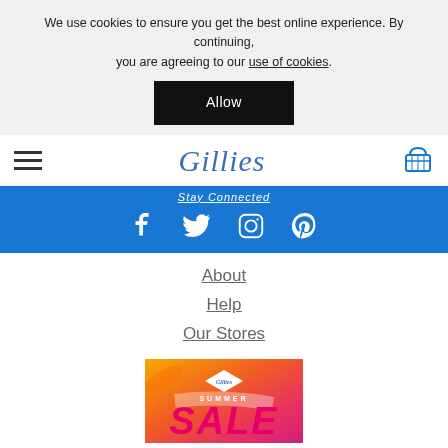We use cookies to ensure you get the best online experience. By continuing, you are agreeing to our use of cookies.
Allow
Gillies
Stay Connected
[Figure (infographic): Social media icons: Facebook, Twitter, Instagram, Pinterest on a blue background]
About
Help
Our Stores
[Figure (illustration): Gillies Summer Sale promotional banner with orange-pink gradient background and palm leaves]